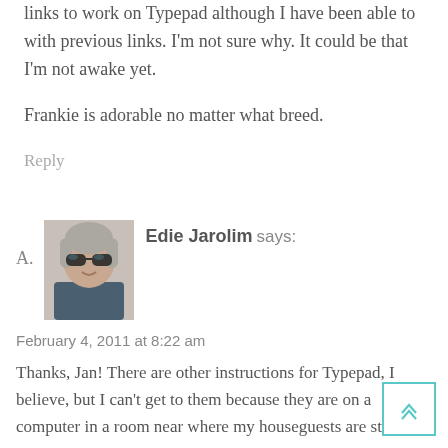links to work on Typepad although I have been able to with previous links. I'm not sure why. It could be that I'm not awake yet.
Frankie is adorable no matter what breed.
Reply
[Figure (photo): Avatar photo of Edie Jarolim, an older woman with gray hair and sunglasses, outdoors]
Edie Jarolim says:
February 4, 2011 at 8:22 am
Thanks, Jan! There are other instructions for Typepad, I believe, but I can't get to them because they are on a computer in a room near where my houseguests are staying and I don't want to wake them because my pipes are frozen which means we have no